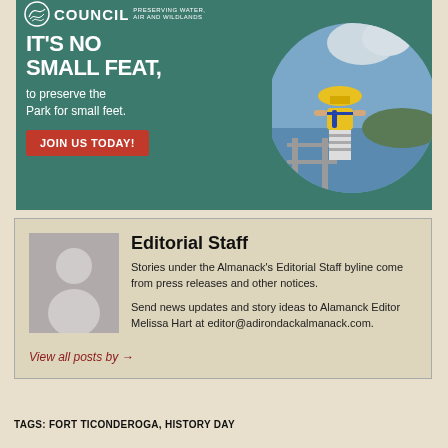[Figure (illustration): Advertisement for Adirondack Council 'Preserving Water, Air and Wildlands' with green background, large white bold text 'IT'S NO SMALL FEAT, to preserve the Park for small feet.' and a red button 'JOIN US TODAY!' alongside a circular photo of a child in a yellow hat and life jacket looking at water.]
Editorial Staff
Stories under the Almanack's Editorial Staff byline come from press releases and other notices.
Send news updates and story ideas to Alamanck Editor Melissa Hart at editor@adirondackalmanack.com.
View all posts by →
TAGS: FORT TICONDEROGA, HISTORY DAY